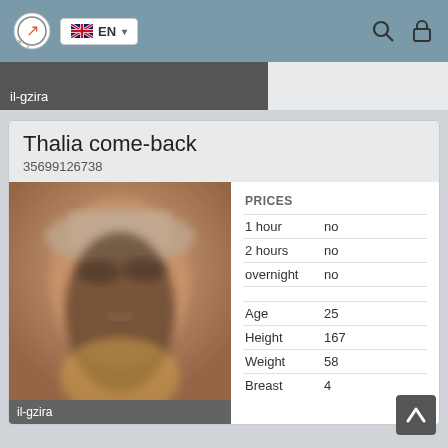EN
il-gzira
Thalia come-back
35699126738
[Figure (photo): Blurred photo of a woman wearing a hat and sunglasses, smiling, in a bikini top]
il-gzira
| PRICES |  |
| 1 hour | no |
| 2 hours | no |
| overnight | no |
| Age | 25 |
| Height | 167 |
| Weight | 58 |
| Breast | 4 |